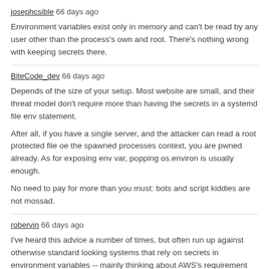josephcsible 66 days ago
Environment variables exist only in memory and can't be read by any user other than the process's own and root. There's nothing wrong with keeping secrets there.
BiteCode_dev 66 days ago
Depends of the size of your setup. Most website are small, and their threat model don't require more than having the secrets in a systemd file env statement.
After all, if you have a single server, and the attacker can read a root protected file oe the spawned processes context, you are pwned already. As for exposing env var, popping os.environ is usually enough.
No need to pay for more than you must: bots and script kiddies are not mossad.
robervin 66 days ago
I've heard this advice a number of times, but often run up against otherwise standard looking systems that rely on secrets in environment variables -- mainly thinking about AWS's requirement when using Secrets Manager with ECS; the secrets are stored securely, but ultimately loaded into a containers environment.